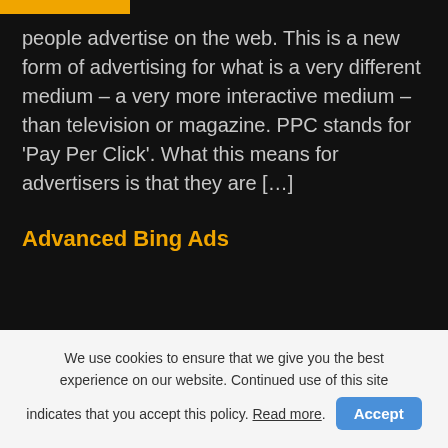people advertise on the web. This is a new form of advertising for what is a very different medium – a very more interactive medium – than television or magazine. PPC stands for 'Pay Per Click'. What this means for advertisers is that they are […]
Advanced Bing Ads
We use cookies to ensure that we give you the best experience on our website. Continued use of this site indicates that you accept this policy. Read more.